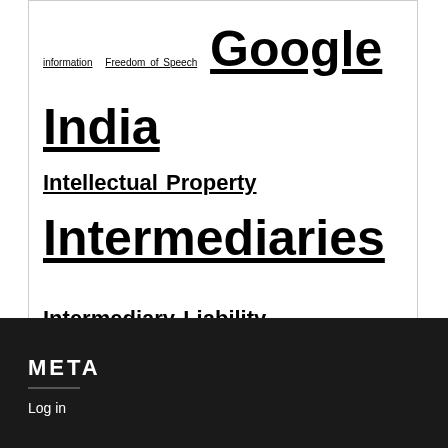information Freedom of Speech Google India Intellectual Property Intermediaries Intermediary Liability internet Internet Regulation Internet Rights IPR Media Law News Newsletter OTT Privacy RBI Regulation Right to Privacy Social Media Surveillance technology The Future of Tech TRAI Twitter Uber WhatsApp
META
Log in